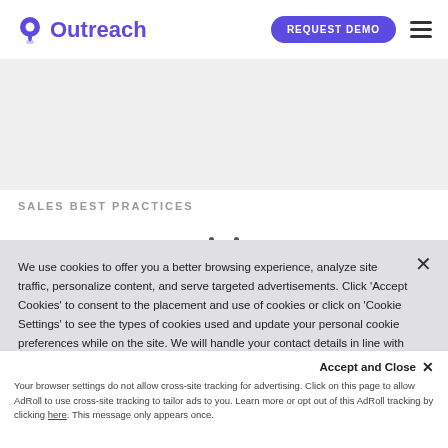[Figure (logo): Outreach logo with purple location pin icon and 'Outreach' wordmark in purple]
REQUEST DEMO
SALES BEST PRACTICES
We use cookies to offer you a better browsing experience, analyze site traffic, personalize content, and serve targeted advertisements. Click 'Accept Cookies' to consent to the placement and use of cookies or click on 'Cookie Settings' to see the types of cookies used and update your personal cookie preferences while on the site. We will handle your contact details in line with our Privacy Policy.
Accept and Close ✕
Your browser settings do not allow cross-site tracking for advertising. Click on this page to allow AdRoll to use cross-site tracking to tailor ads to you. Learn more or opt out of this AdRoll tracking by clicking here. This message only appears once.